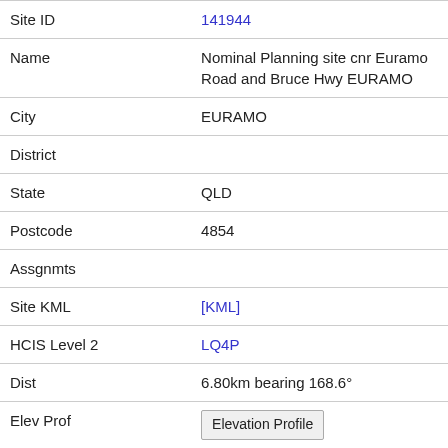| Site ID | 141944 |
| Name | Nominal Planning site cnr Euramo Road and Bruce Hwy EURAMO |
| City | EURAMO |
| District |  |
| State | QLD |
| Postcode | 4854 |
| Assgnmts |  |
| Site KML | [KML] |
| HCIS Level 2 | LQ4P |
| Dist | 6.80km bearing 168.6° |
| Elev Prof | Elevation Profile |
| Site ID | 152495 |
| Name | Broadcast Site Bruce Hwy EURAMO |
| City | EURAMO |
| District |  |
| State | QLD |
| Postcode | 4854 |